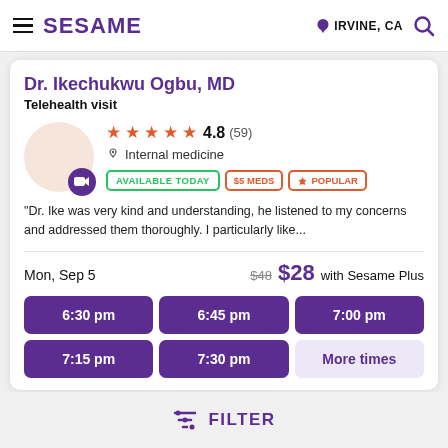SESAME  IRVINE, CA
Dr. Ikechukwu Ogbu, MD
Telehealth visit
★★★★★ 4.8 (59) Internal medicine AVAILABLE TODAY $5 MEDS POPULAR
"Dr. Ike was very kind and understanding, he listened to my concerns and addressed them thoroughly. I particularly like...
Mon, Sep 5  $48  $28 with Sesame Plus
6:30 pm | 6:45 pm | 7:00 pm | 7:15 pm | 7:30 pm | More times
FILTER